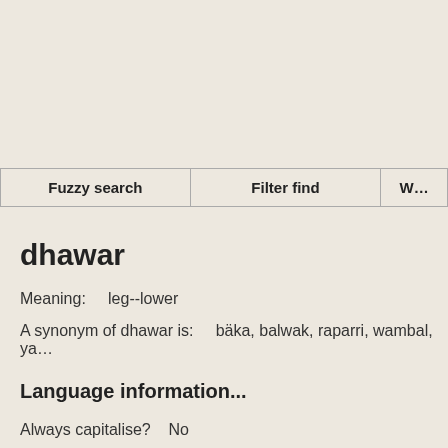| Fuzzy search | Filter find | W… |
| --- | --- | --- |
dhawar
Meaning:     leg--lower
A synonym of dhawar is:     bäka, balwak, raparri, wambal, ya…
Language information...
Always capitalise?     No
Part of speech:     n